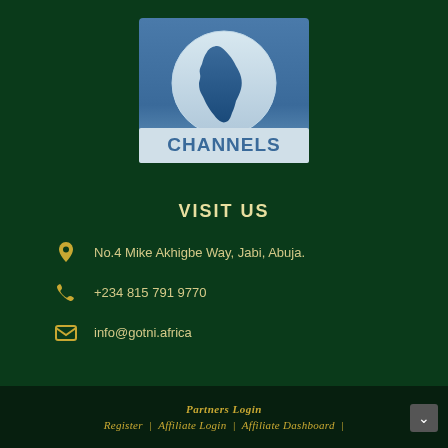[Figure (logo): Channels TV logo — blue square with white circle containing Africa map silhouette, 'CHANNELS' text in blue below]
VISIT US
No.4 Mike Akhigbe Way, Jabi, Abuja.
+234 815 791 9770
info@gotni.africa
Partners Login | Register | Affiliate Login | Affiliate Dashboard |